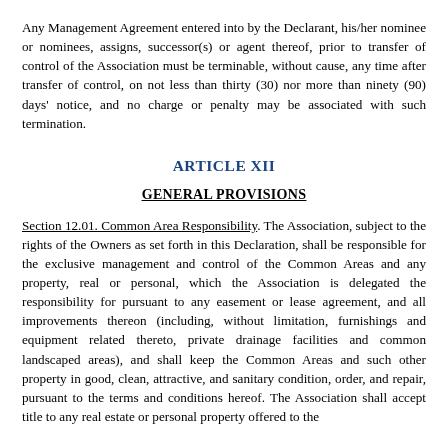Any Management Agreement entered into by the Declarant, his/her nominee or nominees, assigns, successor(s) or agent thereof, prior to transfer of control of the Association must be terminable, without cause, any time after transfer of control, on not less than thirty (30) nor more than ninety (90) days' notice, and no charge or penalty may be associated with such termination.
ARTICLE XII
GENERAL PROVISIONS
Section 12.01. Common Area Responsibility. The Association, subject to the rights of the Owners as set forth in this Declaration, shall be responsible for the exclusive management and control of the Common Areas and any property, real or personal, which the Association is delegated the responsibility for pursuant to any easement or lease agreement, and all improvements thereon (including, without limitation, furnishings and equipment related thereto, private drainage facilities and common landscaped areas), and shall keep the Common Areas and such other property in good, clean, attractive, and sanitary condition, order, and repair, pursuant to the terms and conditions hereof. The Association shall accept title to any real estate or personal property offered to the